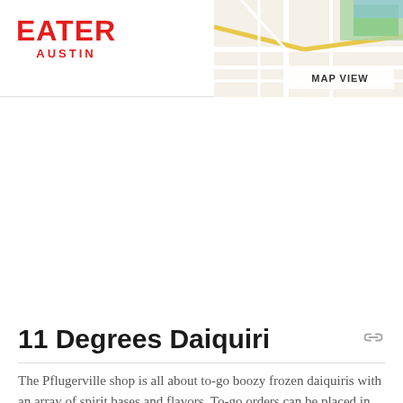EATER AUSTIN
[Figure (map): Map view thumbnail showing street map with green area top right, with MAP VIEW label overlay]
11 Degrees Daiquiri
The Pflugerville shop is all about to-go boozy frozen daiquiris with an array of spirit bases and flavors. To-go orders can be placed in person or over the